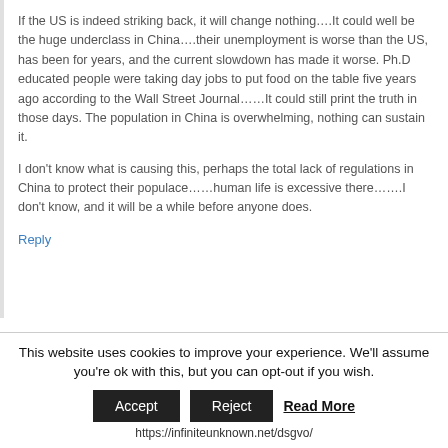If the US is indeed striking back, it will change nothing….It could well be the huge underclass in China….their unemployment is worse than the US, has been for years, and the current slowdown has made it worse. Ph.D educated people were taking day jobs to put food on the table five years ago according to the Wall Street Journal……It could still print the truth in those days. The population in China is overwhelming, nothing can sustain it.

I don't know what is causing this, perhaps the total lack of regulations in China to protect their populace……human life is excessive there…….I don't know, and it will be a while before anyone does.
Reply
This website uses cookies to improve your experience. We'll assume you're ok with this, but you can opt-out if you wish.
Accept  Reject  Read More
https://infiniteunknown.net/dsgvo/